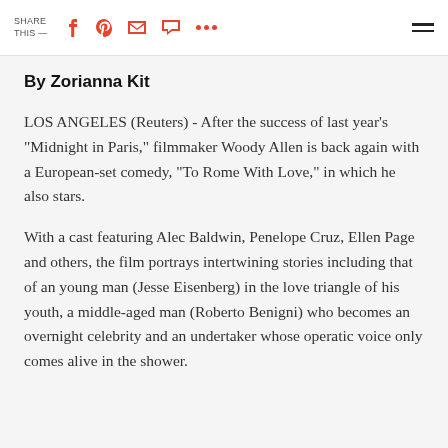SHARE THIS —
By Zorianna Kit
LOS ANGELES (Reuters) - After the success of last year's "Midnight in Paris," filmmaker Woody Allen is back again with a European-set comedy, "To Rome With Love," in which he also stars.
With a cast featuring Alec Baldwin, Penelope Cruz, Ellen Page and others, the film portrays intertwining stories including that of an young man (Jesse Eisenberg) in the love triangle of his youth, a middle-aged man (Roberto Benigni) who becomes an overnight celebrity and an undertaker whose operatic voice only comes alive in the shower.